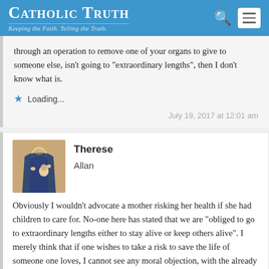Catholic Truth — Keeping the Faith. Telling the Truth.
through an operation to remove one of your organs to give to someone else, isn't going to "extraordinary lengths", then I don't know what is.
Loading...
July 19, 2017 at 12:01 am
Therese
Allan
Obviously I wouldn't advocate a mother risking her health if she had children to care for. No-one here has stated that we are "obliged to go to extraordinary lengths either to stay alive or keep others alive". I merely think that if one wishes to take a risk to save the life of someone one loves, I cannot see any moral objection, with the already stated proviso that in taking such a risk one is not subjecting any dependants to possible loss.